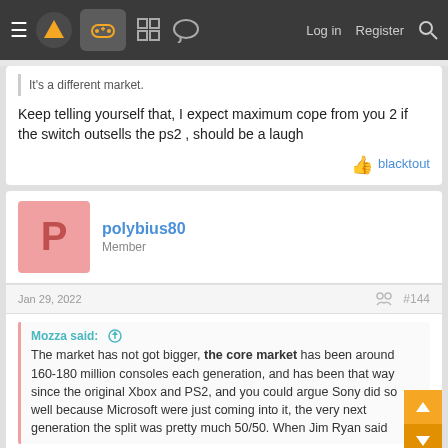Navigation bar with logo, controller icon, forum icons, Log in, Register, Search
It's a different market.
Keep telling yourself that, I expect maximum cope from you 2 if the switch outsells the ps2 , should be a laugh
blacktout
polybius80
Member
Jan 29, 2022
#144
Mozza said:
The market has not got bigger, the core market has been around 160-180 million consoles each generation, and has been that way since the original Xbox and PS2, and you could argue Sony did so well because Microsoft were just coming into it, the very next generation the split was pretty much 50/50. When Jim Ryan said